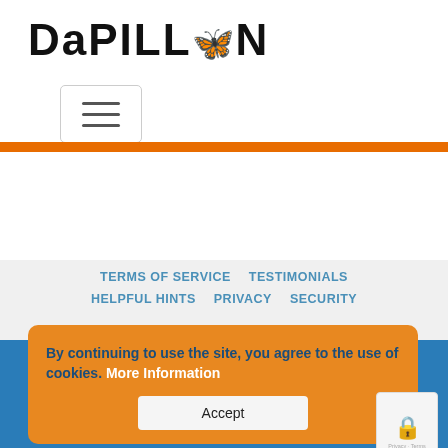[Figure (logo): Papillon logo with butterfly icon replacing the letter O, bold black text]
[Figure (screenshot): Hamburger menu toggle button (three horizontal lines) with rounded border]
TERMS OF SERVICE   TESTIMONIALS
HELPFUL HINTS   PRIVACY   SECURITY
PAPILLON SERVICE
2009 – 2022 All rights reserved
By continuing to use the site, you agree to the use of cookies. More Information
Accept
This site is property of Cendrillon LLC.